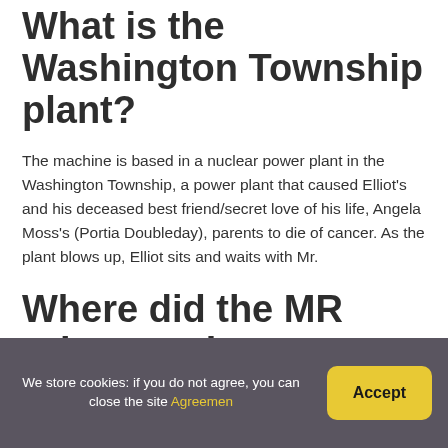What is the Washington Township plant?
The machine is based in a nuclear power plant in the Washington Township, a power plant that caused Elliot's and his deceased best friend/secret love of his life, Angela Moss's (Portia Doubleday), parents to die of cancer. As the plant blows up, Elliot sits and waits with Mr.
Where did the MR robot mask come
We store cookies: if you do not agree, you can close the site Agreemen
Accept